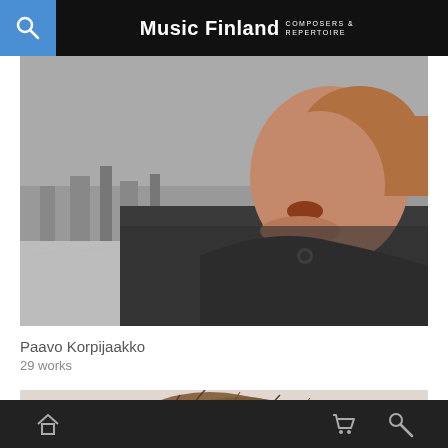Music Finland COMPOSERS & REPERTOIRE
[Figure (photo): Close-up photo of a man outdoors in a wintry urban setting, wearing a dark jacket, with blurred city background]
Paavo Korpijaakko
29 works
[Figure (photo): Partial photo showing the top of a person's head with brown hair, against a light background]
Home | Cart | Search